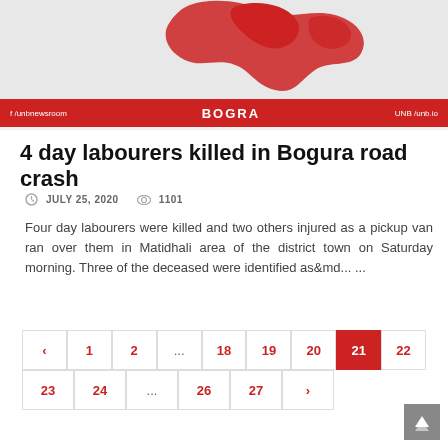[Figure (illustration): Map of Bangladesh with a red blotch/splash graphic indicating Bogra region, with a red banner bar at bottom showing 'BOGRA' in the center, a Facebook icon on the left, and UNB logo on the right]
4 day labourers killed in Bogura road crash
JULY 25, 2020   1101
Four day labourers were killed and two others injured as a pickup van ran over them in Matidhali area of the district town on Saturday morning. Three of the deceased were identified as&md... ...
‹ 1 2 ... 18 19 20 21 22 23
24 ... 26 27 ›